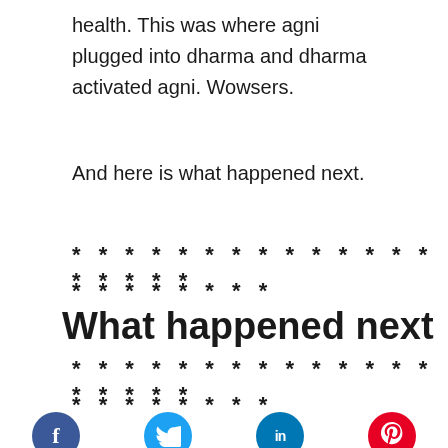health. This was where agni plugged into dharma and dharma activated agni. Wowsers.
And here is what happened next.
* * * * * * * * * * * * * * * * * * *
* * * * * * * *
What happened next
* * * * * * * * * * * * * * * * * * *
* * * * * * * *
[Figure (other): Social media share icons: Facebook (blue circle with f), Twitter (light blue circle with bird), LinkedIn (blue circle with in), Pinterest (red circle with p)]